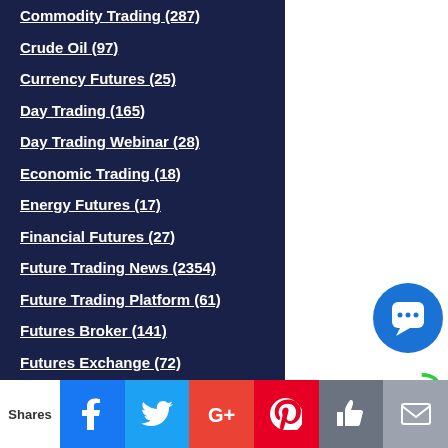Commodity Trading (287)
Crude Oil (97)
Currency Futures (25)
Day Trading (165)
Day Trading Webinar (28)
Economic Trading (18)
Energy Futures (17)
Financial Futures (27)
Future Trading News (2354)
Future Trading Platform (61)
Futures Broker (141)
Futures Exchange (72)
Futures Trading (704)
futures trading education (143)
Gold Futures (13)
[Figure (infographic): Social share bar with Shares label, Facebook, Twitter, Google+, Pinterest, Like, and Email buttons]
[Figure (infographic): Right sidebar icons: phone, search, chart/analytics, and chat bubble]